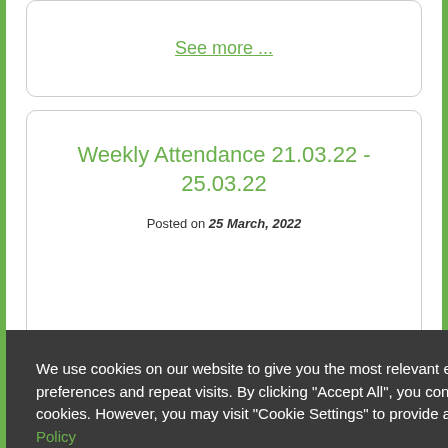See more ...
Weekly Attendance 21.03.22 - 25.03.22
Posted on 25 March, 2022
We use cookies on our website to give you the most relevant experience by remembering your preferences and repeat visits. By clicking “Accept All”, you consent to the use of ALL the cookies. However, you may visit “Cookie Settings” to provide a controlled consent. Cookie Policy
Cookie Settings
Accept All
Reject All